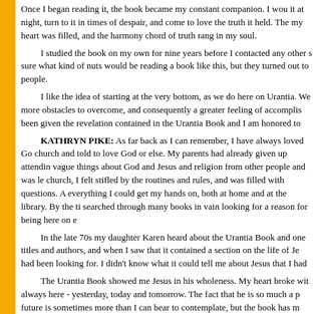Once I began reading it, the book became my constant companion. I would read it at night, turn to it in times of despair, and come to love the truth it held. The void in my heart was filled, and the harmony chord of truth rang in my soul.
I studied the book on my own for nine years before I contacted any other students. I was sure what kind of nuts would be reading a book like this, but they turned out to be regular people.
I like the idea of starting at the very bottom, as we do here on Urantia. We have so many more obstacles to overcome, and consequently a greater feeling of accomplishment. We have been given the revelation contained in the Urantia Book and I am honored to be a part of it.
KATHRYN PIKE: As far back as I can remember, I have always loved God. I was never taken to church and told to love God or else. My parents had already given up attending church. I heard vague things about God and Jesus and religion from other people and was left curious. When I did attend church, I felt stifled by the routines and rules, and was filled with questions. As a child I read everything I could get my hands on, both at home and at the library. By the time I was 14 I had searched through many books in vain looking for a reason for being here on earth.
In the late 70s my daughter Karen heard about the Urantia Book and one day she showed me the titles and authors, and when I saw that it contained a section on the life of Jesus, I knew that was what I had been looking for. I didn't know what it could tell me about Jesus that I hadn't already read.
The Urantia Book showed me Jesus in his wholeness. My heart broke with joy to know that Jesus is always here - yesterday, today and tomorrow. The fact that he is so much a part of my present and future is sometimes more than I can bear to contemplate, but the book has made me very strong.
I read my daughter's book whenever I could, but when she began carrying it around I got my own copy.
For almost twenty years I read the book alone, on an occasional basis. Only recently have I been attending groups. But the book has always been there for me when I've needed it. If you seek, you shall find.
SANDOR SZABADOS: Jesus said: "Seek and you shall find." In 1973 I left Hungary...